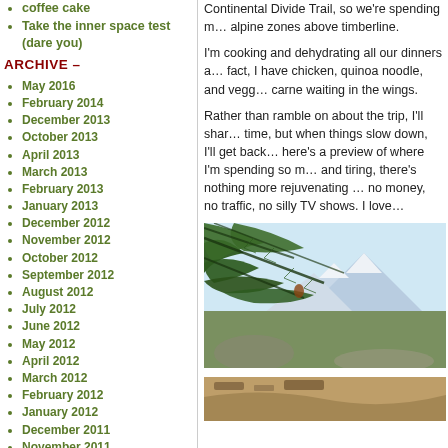coffee cake
Take the inner space test (dare you)
ARCHIVE –
May 2016
February 2014
December 2013
October 2013
April 2013
March 2013
February 2013
January 2013
December 2012
November 2012
October 2012
September 2012
August 2012
July 2012
June 2012
May 2012
April 2012
March 2012
February 2012
January 2012
December 2011
November 2011
October 2011
September 2011
August 2011
July 2011
June 2011
May 2011
April 2011
March 2011
February 2011
Continental Divide Trail, so we're spending m… alpine zones above timberline.
I'm cooking and dehydrating all our dinners a… fact, I have chicken, quinoa noodle, and vegg… carne waiting in the wings.
Rather than ramble on about the trip, I'll shar… time, but when things slow down, I'll get back… here's a preview of where I'm spending so m… and tiring, there's nothing more rejuvenating … no money, no traffic, no silly TV shows. I love…
[Figure (photo): Mountain landscape viewed through pine tree branches, with snowy peaks and blue sky in background]
[Figure (photo): Partial view of outdoor scene, bottom of page]